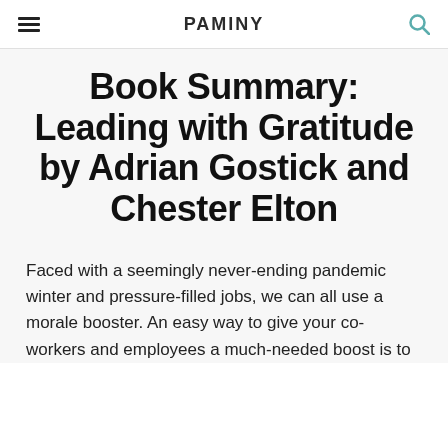PAMINY
Book Summary: Leading with Gratitude by Adrian Gostick and Chester Elton
Faced with a seemingly never-ending pandemic winter and pressure-filled jobs, we can all use a morale booster. An easy way to give your co-workers and employees a much-needed boost is to